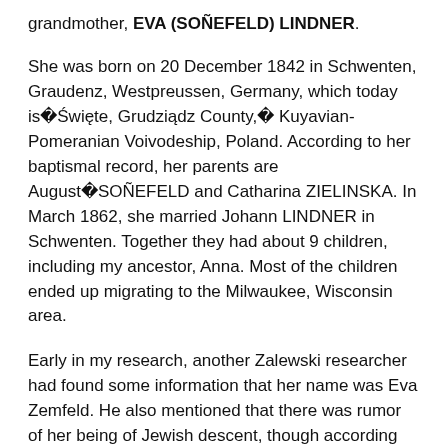grandmother, EVA (SOÑEFELD) LINDNER.
She was born on 20 December 1842 in Schwenten, Graudenz, Westpreussen, Germany, which today is�Święte, Grudziądz County,� Kuyavian-Pomeranian Voivodeship, Poland. According to her baptismal record, her parents are August�SOŃEFELD and Catharina ZIELINSKA. In March 1862, she married Johann LINDNER in Schwenten. Together they had about 9 children, including my ancestor, Anna. Most of the children ended up migrating to the Milwaukee, Wisconsin area.
Early in my research, another Zalewski researcher had found some information that her name was Eva Zemfeld. He also mentioned that there was rumor of her being of Jewish descent, though according my DNA tests,